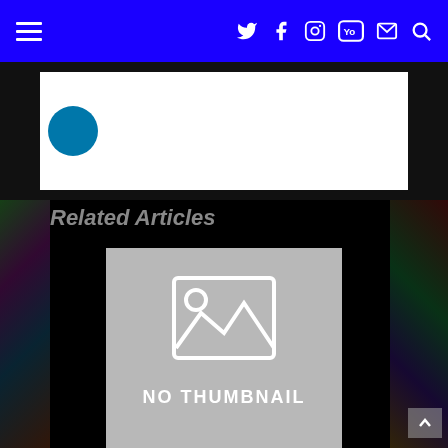Navigation bar with hamburger menu and social icons (Twitter, Facebook, Instagram, YouTube, Email, Search)
[Figure (screenshot): Advertisement or header strip with a circular logo icon on white background]
Related Articles
[Figure (photo): No thumbnail placeholder image with mountain/sun icon and text NO THUMBNAIL]
Mario Maker Announced for Wii U
[Figure (photo): Second article thumbnail, partially visible at bottom of page]